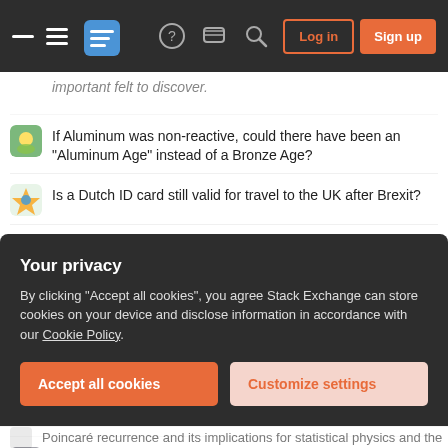[Figure (screenshot): Stack Exchange navigation bar with hamburger menu, logo, help/chat/search icons, Log in and Sign up buttons]
important felt to discover.
If Aluminum was non-reactive, could there have been an "Aluminum Age" instead of a Bronze Age?
Is a Dutch ID card still valid for travel to the UK after Brexit?
Villainize / demonize a thing / abstract object
Do I always need a comma after a person's name?
Cleaning with baking soda stains?
QGIS Processing Algorithm populate alg.FIELD with attribute / field names
What is needed to develop a Windows open source graphics driver?
Why couldn't the Ring be taken to Gondor by sea?
Your privacy
By clicking "Accept all cookies", you agree Stack Exchange can store cookies on your device and disclose information in accordance with our Cookie Policy.
Accept all cookies
Customize settings
Poincaré recurrence and its implications for statistical physics and the